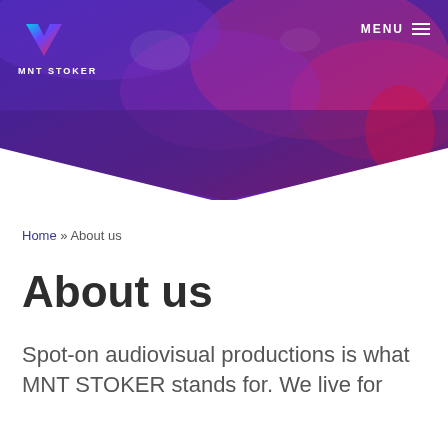[Figure (photo): Website header with purple-to-pink gradient background showing a concert/event scene, MNT STOKER logo on the left, MENU with hamburger icon on the right, and a downward chevron/arrow shape at the bottom of the header]
Home » About us
About us
Spot-on audiovisual productions is what MNT STOKER stands for. We live for